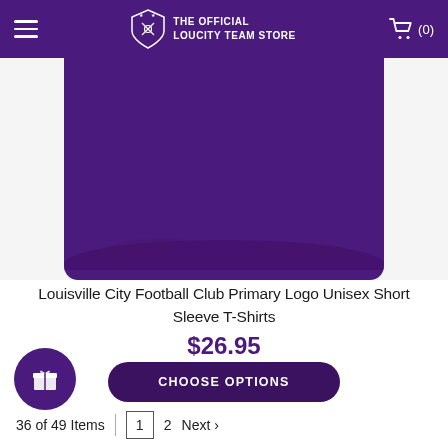THE OFFICIAL LOUCITY TEAM STORE
[Figure (photo): Purple t-shirt product photo on white background, showing a Louisville City FC primary logo unisex short sleeve t-shirt in purple color.]
Louisville City Football Club Primary Logo Unisex Short Sleeve T-Shirts
$26.95
CHOOSE OPTIONS
36 of 49 Items  1  2  Next